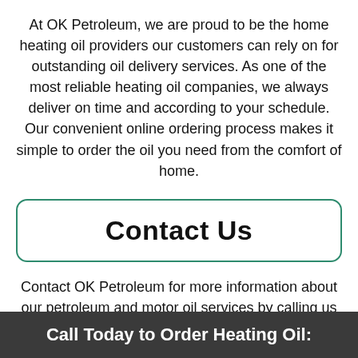At OK Petroleum, we are proud to be the home heating oil providers our customers can rely on for outstanding oil delivery services. As one of the most reliable heating oil companies, we always deliver on time and according to your schedule. Our convenient online ordering process makes it simple to order the oil you need from the comfort of home.
Contact Us
Contact OK Petroleum for more information about our petroleum and motor oil services by calling us at (631) 321-0549. We look forward to providing the outstanding services you can depend on.
Call Today to Order Heating Oil: